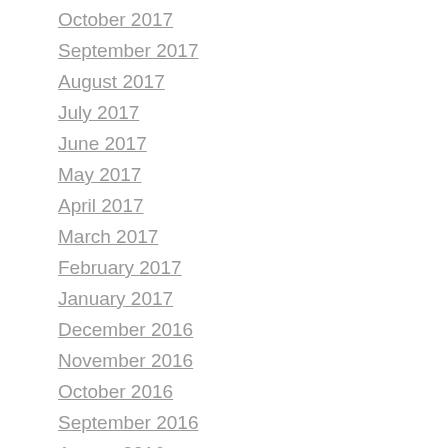October 2017
September 2017
August 2017
July 2017
June 2017
May 2017
April 2017
March 2017
February 2017
January 2017
December 2016
November 2016
October 2016
September 2016
August 2016
July 2016
June 2016
May 2016
April 2016